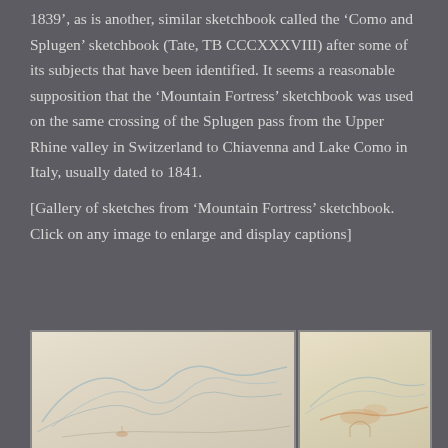1839', as is another, similar sketchbook called the 'Como and Splugen' sketchbook (Tate, TB CCCXXXVIII) after some of its subjects that have been identified. It seems a reasonable supposition that the 'Mountain Fortress' sketchbook was used on the same crossing of the Splugen pass from the Upper Rhine valley in Switzerland to Chiavenna and Lake Como in Italy, usually dated to 1841.
[Gallery of sketches from 'Mountain Fortress' sketchbook. Click on any image to enlarge and display captions]
[Figure (illustration): Sketch from Mountain Fortress sketchbook showing faint blue mountain/landscape outlines on cream/beige paper background]
[Figure (illustration): Sketch from Mountain Fortress sketchbook showing faint orange/pink and blue lines on cream/beige paper background]